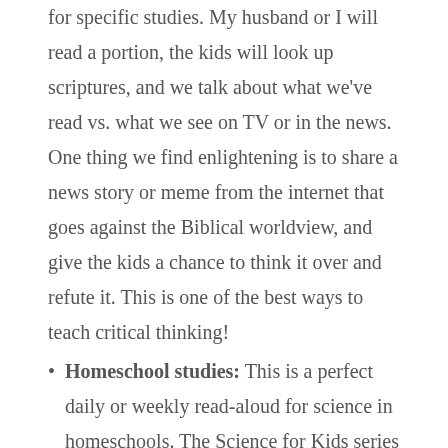for specific studies. My husband or I will read a portion, the kids will look up scriptures, and we talk about what we've read vs. what we see on TV or in the news. One thing we find enlightening is to share a news story or meme from the internet that goes against the Biblical worldview, and give the kids a chance to think it over and refute it. This is one of the best ways to teach critical thinking!
Homeschool studies: This is a perfect daily or weekly read-aloud for science in homeschools. The Science for Kids series can be read aloud daily, with a short discussion following. Even the youngest kids will